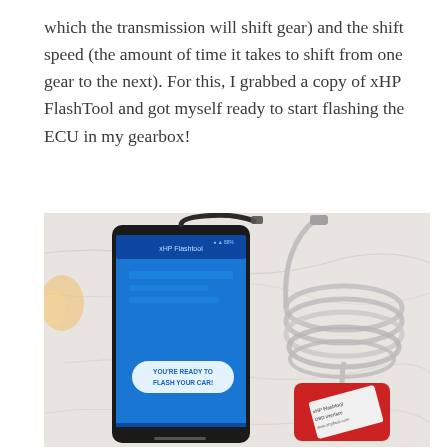which the transmission will shift gear) and the shift speed (the amount of time it takes to shift from one gear to the next). For this, I grabbed a copy of xHP FlashTool and got myself ready to start flashing the ECU in my gearbox!
[Figure (photo): A smartphone displaying the xHP FlashTool app with a message 'YOU'RE READY TO FLASH YOUR CAR!', a USB cable, and a red OBD diagnostic device with a coiled transparent/silver cable, all laid on a white marble surface.]